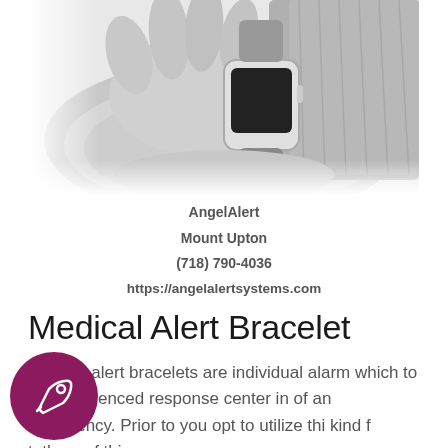[Figure (photo): Black and white photograph of an elderly person's wrist wearing a smartwatch/medical alert device]
AngelAlert
Mount Upton
(718) 790-4036
https://angelalertsystems.com
Medical Alert Bracelet
Medical alert bracelets are individual alarm which to an experienced response center in of an emergency. Prior to you opt to utilize thi kind f t th f thi